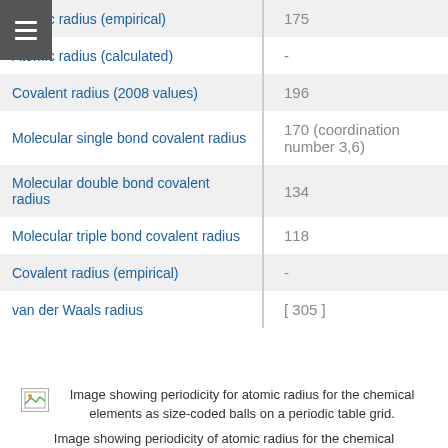| Property | Value |
| --- | --- |
| Atomic radius (empirical) | 175 |
| Atomic radius (calculated) | - |
| Covalent radius (2008 values) | 196 |
| Molecular single bond covalent radius | 170 (coordination number 3,6) |
| Molecular double bond covalent radius | 134 |
| Molecular triple bond covalent radius | 118 |
| Covalent radius (empirical) | - |
| van der Waals radius | [ 305 ] |
[Figure (illustration): Image showing periodicity for atomic radius for the chemical elements as size-coded balls on a periodic table grid.]
Image showing periodicity for atomic radius for the chemical elements as size-coded balls on a periodic table grid.
Image showing periodicity of atomic radius for the chemical